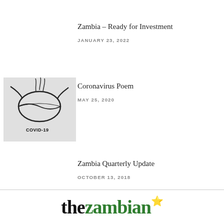Zambia – Ready for Investment
JANUARY 23, 2022
[Figure (photo): Black and white sketch/illustration of a face mask with 'COVID-19' text written beneath it]
Coronavirus Poem
MAY 25, 2020
Zambia Quarterly Update
OCTOBER 13, 2018
thezambian